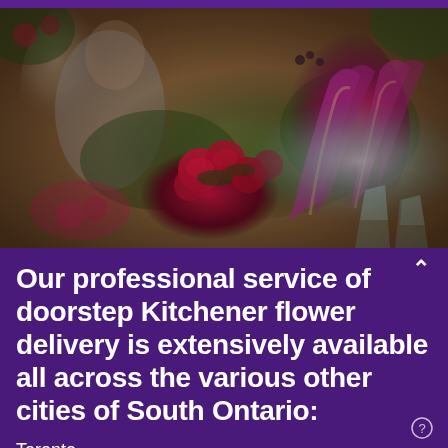[Figure (photo): A florist working in a flower shop surrounded by vibrant red roses, dark pink/magenta calla lilies, and other colorful flowers in glass vases on a wooden table. A person in an apron is visible in the blurred background.]
Our professional service of doorstep Kitchener flower delivery is extensively available all across the various other cities of South Ontario:
Toronto
Mississauga